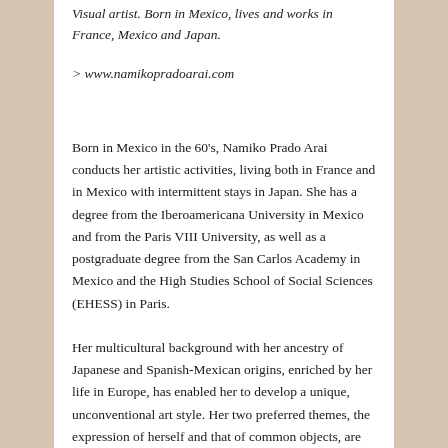Visual artist. Born in Mexico, lives and works in France, Mexico and Japan.
> www.namikopradoarai.com
Born in Mexico in the 60's, Namiko Prado Arai conducts her artistic activities, living both in France and in Mexico with intermittent stays in Japan. She has a degree from the Iberoamericana University in Mexico and from the Paris VIII University, as well as a postgraduate degree from the San Carlos Academy in Mexico and the High Studies School of Social Sciences (EHESS) in Paris.
Her multicultural background with her ancestry of Japanese and Spanish-Mexican origins, enriched by her life in Europe, has enabled her to develop a unique, unconventional art style. Her two preferred themes, the expression of herself and that of common objects, are the results of her constant search for visual poetic expression of intimacy that goes beyond the simple confessions of